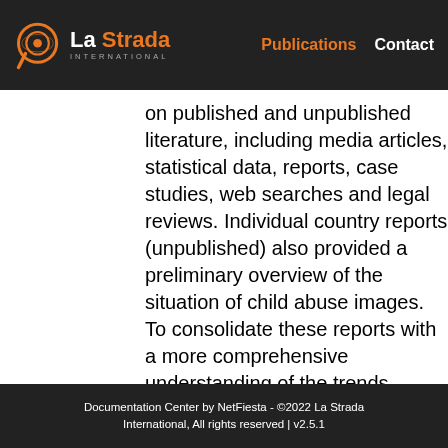La Strada International | Publications | Contact
on published and unpublished literature, including media articles, statistical data, reports, case studies, web searches and legal reviews. Individual country reports (unpublished) also provided a preliminary overview of the situation of child abuse images. To consolidate these reports with a more comprehensive understanding of the trends identified, a detailed analysis
Documentation Center by NetFiesta - ©2022 La Strada International, All rights reserved | v2.5.1